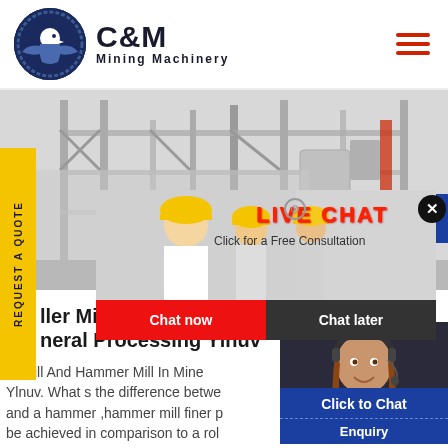C&M Mining Machinery
[Figure (screenshot): Website screenshot showing C&M Mining Machinery page with live chat overlay, industrial machinery background, workers in hard hats, and customer service agent]
ller Mill And Hammer Mill In Mineral Processing Ylnuv. What s the difference between and a hammer ,hammer mill finer p be achieved in comparison to a rol